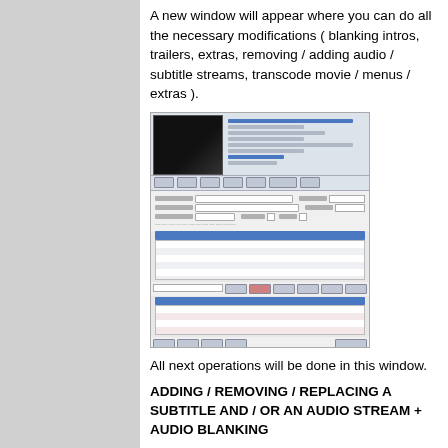A new window will appear where you can do all the necessary modifications ( blanking intros, trailers, extras, removing / adding audio / subtitle streams, transcode movie / menus / extras ).
[Figure (screenshot): Screenshot of a video editing/processing application window showing a video preview, various form fields, a blue highlighted selection bar, and table rows with audio/subtitle stream settings.]
All next operations will be done in this window.
ADDING / REMOVING / REPLACING A SUBTITLE AND / OR AN AUDIO STREAM + AUDIO BLANKING
KEEP IN MIND: EVERY OPERATION YOU WANT TO DO, PGS ORDER SHOULD BE USED LAST, NEVER BEFORE OTHER OPERATIONS OR IN BETWEEN OPERATIONS. PGS ORDER IS ONLY USED FOR ADD / REMOVE / UP / DOWN INTERNAL / EXTERNAL SUBTITLES.
1. We select the movie playlist ( first one in